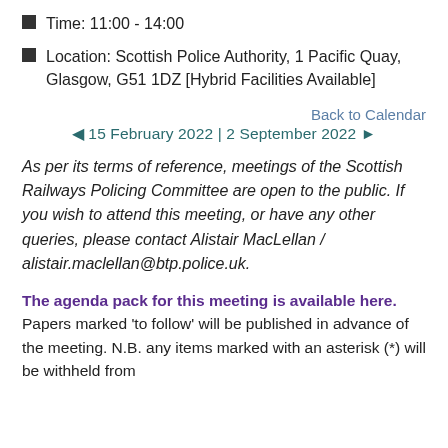Time: 11:00 - 14:00
Location: Scottish Police Authority, 1 Pacific Quay, Glasgow, G51 1DZ [Hybrid Facilities Available]
Back to Calendar
◄ 15 February 2022 | 2 September 2022 ►
As per its terms of reference, meetings of the Scottish Railways Policing Committee are open to the public. If you wish to attend this meeting, or have any other queries, please contact Alistair MacLellan / alistair.maclellan@btp.police.uk.
The agenda pack for this meeting is available here. Papers marked 'to follow' will be published in advance of the meeting. N.B. any items marked with an asterisk (*) will be withheld from